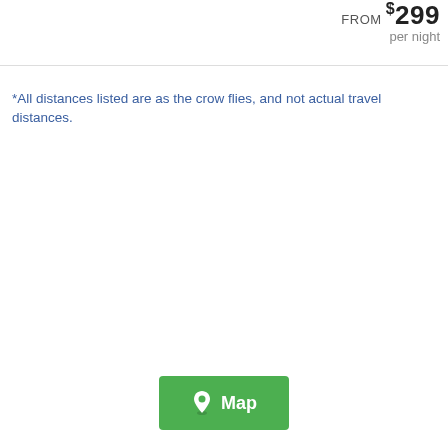FROM $299 per night
*All distances listed are as the crow flies, and not actual travel distances.
[Figure (other): Green Map button with map pin icon]